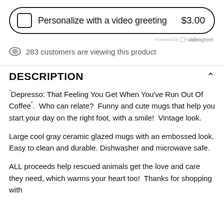[Figure (other): Checkbox UI element with label 'Personalize with a video greeting' and price '$3.00' inside a rounded border box, with 'Powered by videogreet' below]
283 customers are viewing this product
DESCRIPTION
"Depresso: That Feeling You Get When You've Run Out Of Coffee". Who can relate? Funny and cute mugs that help you start your day on the right foot, with a smile! Vintage look.
Large cool gray ceramic glazed mugs with an embossed look. Easy to clean and durable. Dishwasher and microwave safe.
ALL proceeds help rescued animals get the love and care they need, which warms your heart too! Thanks for shopping with